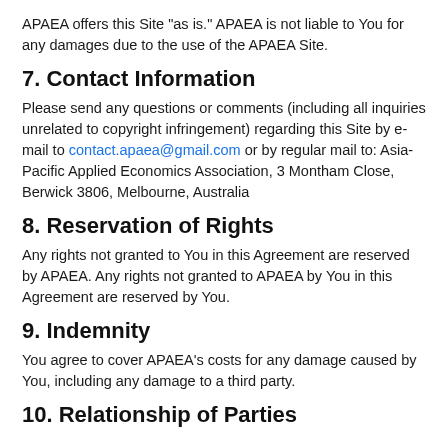APAEA offers this Site "as is." APAEA is not liable to You for any damages due to the use of the APAEA Site.
7. Contact Information
Please send any questions or comments (including all inquiries unrelated to copyright infringement) regarding this Site by e-mail to contact.apaea@gmail.com or by regular mail to: Asia-Pacific Applied Economics Association, 3 Montham Close, Berwick 3806, Melbourne, Australia
8. Reservation of Rights
Any rights not granted to You in this Agreement are reserved by APAEA. Any rights not granted to APAEA by You in this Agreement are reserved by You.
9. Indemnity
You agree to cover APAEA’s costs for any damage caused by You, including any damage to a third party.
10. Relationship of Parties